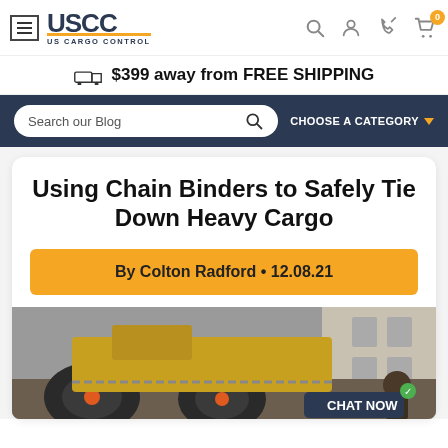US Cargo Control - navigation bar with logo, search, user, phone, cart icons
$399 away from FREE SHIPPING
Search our Blog / CHOOSE A CATEGORY
Using Chain Binders to Safely Tie Down Heavy Cargo
By Colton Radford • 12.08.21
[Figure (photo): Heavy machinery (loader/tractor with large rubber tires and chains) being loaded or secured on a trailer. A person visible in the lower right corner. CHAT NOW button overlay.]